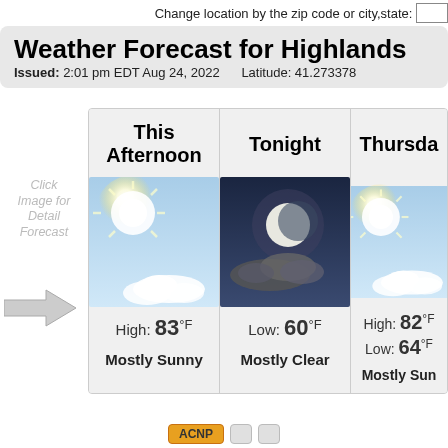Change location by the zip code or city,state:
Weather Forecast for Highlands
Issued: 2:01 pm EDT Aug 24, 2022    Latitude: 41.273378
Click Image for Detail Forecast
[Figure (illustration): Gray arrow pointing right]
| This Afternoon | Tonight | Thursday |
| --- | --- | --- |
| High: 83°F | Low: 60°F | High: 82°F
Low: 64°F |
| Mostly Sunny | Mostly Clear | Mostly Sunny |